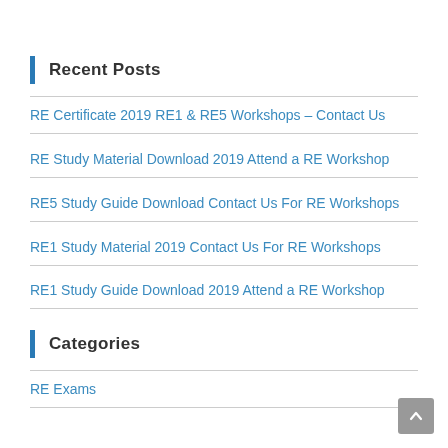Recent Posts
RE Certificate 2019 RE1 & RE5 Workshops – Contact Us
RE Study Material Download 2019 Attend a RE Workshop
RE5 Study Guide Download Contact Us For RE Workshops
RE1 Study Material 2019 Contact Us For RE Workshops
RE1 Study Guide Download 2019 Attend a RE Workshop
Categories
RE Exams